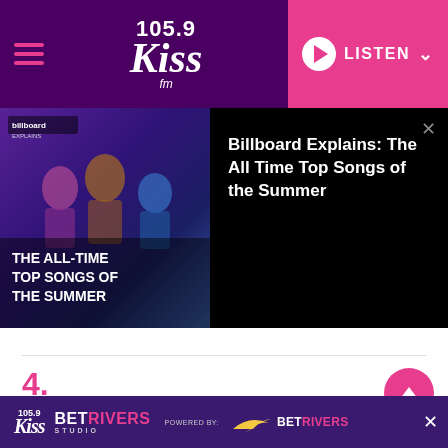105.9 Kiss FM — LISTEN
[Figure (screenshot): Video thumbnail showing Billboard Explains: The All-Time Top Songs of the Summer with colorful performers]
Billboard Explains: The All Time Top Songs of the Summer
4.
Daric L. Cottingham, M.A. @DaricCott · Follow
[Figure (screenshot): Ad banner for 105.9 Kiss FM BetRivers Studio powered by BetRivers]